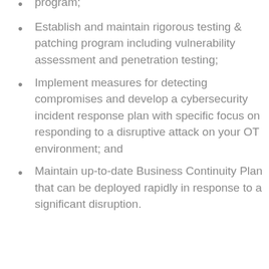program;
Establish and maintain rigorous testing & patching program including vulnerability assessment and penetration testing;
Implement measures for detecting compromises and develop a cybersecurity incident response plan with specific focus on responding to a disruptive attack on your OT environment; and
Maintain up-to-date Business Continuity Plan that can be deployed rapidly in response to a significant disruption.